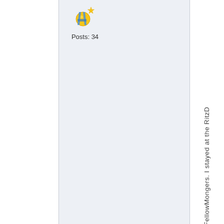[Figure (other): Forum user badge icon (gold medal with blue ribbon and gold star)]
Posts: 34
FellowMongers. I stayed at the RitzD